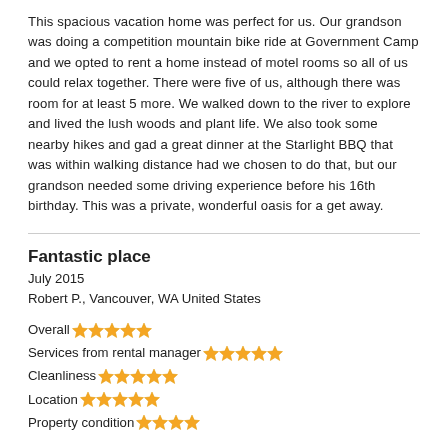This spacious vacation home was perfect for us. Our grandson was doing a competition mountain bike ride at Government Camp and we opted to rent a home instead of motel rooms so all of us could relax together. There were five of us, although there was room for at least 5 more. We walked down to the river to explore and lived the lush woods and plant life. We also took some nearby hikes and gad a great dinner at the Starlight BBQ that was within walking distance had we chosen to do that, but our grandson needed some driving experience before his 16th birthday. This was a private, wonderful oasis for a get away.
Fantastic place
July 2015
Robert P., Vancouver, WA United States
Overall ★★★★★
Services from rental manager ★★★★★
Cleanliness ★★★★★
Location ★★★★★
Property condition ★★★★